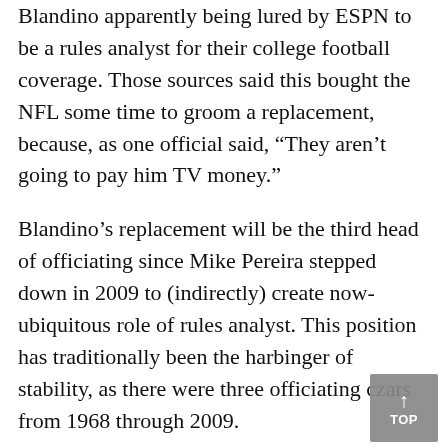Blandino apparently being lured by ESPN to be a rules analyst for their college football coverage. Those sources said this bought the NFL some time to groom a replacement, because, as one official said, “They aren’t going to pay him TV money.”
Blandino’s replacement will be the third head of officiating since Mike Pereira stepped down in 2009 to (indirectly) create now-ubiquitous role of rules analyst. This position has traditionally been the harbinger of stability, as there were three officiating czars from 1968 through 2009.
As Kinkhabwala points out in her tweet, the league moved the decision for replay reviews from the referee to the officiating department’s command center with Blandino mentioned as the point person with other senior staff to assist. This will now be placed on